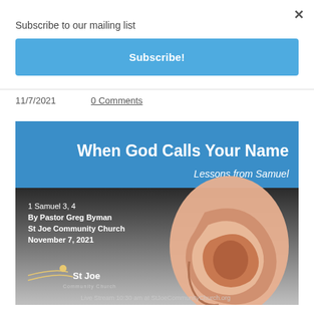×
Subscribe to our mailing list
Subscribe!
11/7/2021   0 Comments
[Figure (illustration): Church sermon banner: 'When God Calls Your Name – Lessons from Samuel' with a photo of a human ear, text listing 1 Samuel 3, 4 by Pastor Greg Byman, St Joe Community Church, November 7, 2021, with St Joe Community Church logo and Live Stream info.]